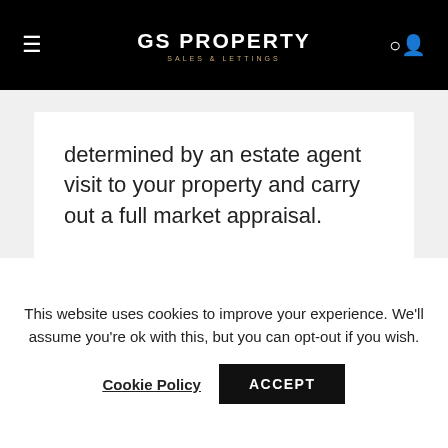GS PROPERTY SALES & LETTINGS
determined by an estate agent visit to your property and carry out a full market appraisal.
This website uses cookies to improve your experience. We'll assume you're ok with this, but you can opt-out if you wish.
Cookie Policy  ACCEPT